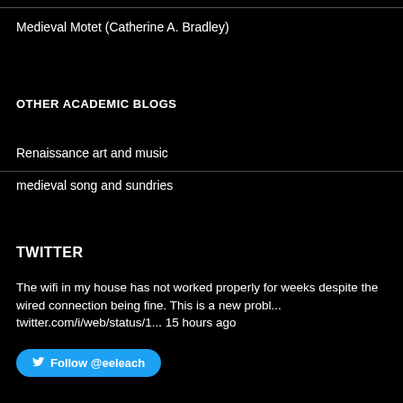Medieval Motet (Catherine A. Bradley)
OTHER ACADEMIC BLOGS
Renaissance art and music
medieval song and sundries
TWITTER
The wifi in my house has not worked properly for weeks despite the wired connection being fine. This is a new probl... twitter.com/i/web/status/1... 15 hours ago
Follow @eeleach